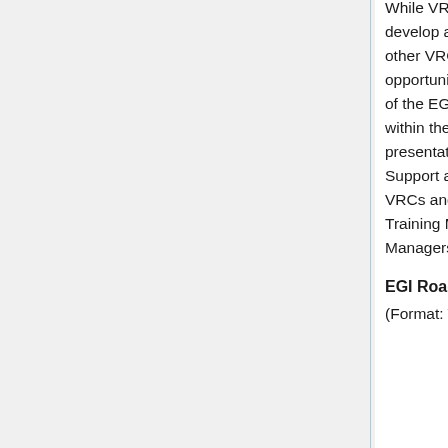While VRCs benefit from these existing services they also develop and operate services that would be in the interest of other VRCs. The 2 x 90 minutes long session will provide opportunity for VRCs to present their experiences of being part of the EGI community and about the services they use and offer within the European Grid Infrastructure. In addition to the VRC presentations, the representatives of the EGI User Community Support activity will introduce the technical services provided for VRCs and NGIs, including the Application Database, the Training Marketplace and the Services and Dashboards for VO Managers.
EGI Roadshows
(Format: Training / Workshop)